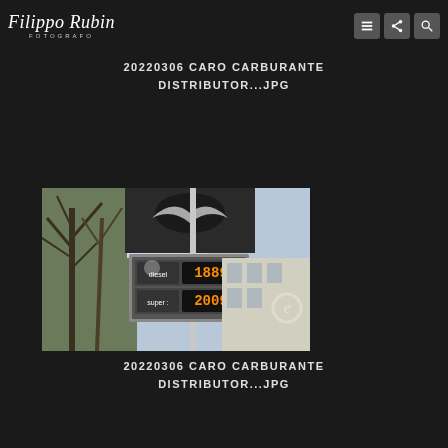Filippo Rubin FOTOGRAFO
20220306 CARO CARBURANTE DISTRIBUTOR...JPG
[Figure (photo): A gas station price sign showing diesel at 1.889 and super at 2.009, with an Eni logo (eagle symbol) on a sign post, bare trees in the background and a building visible on the right.]
20220306 CARO CARBURANTE DISTRIBUTOR...JPG